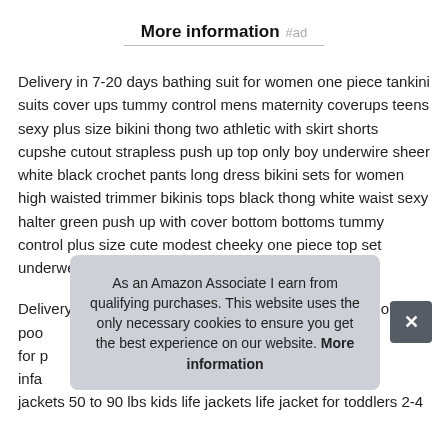More information #ad
Delivery in 7-20 days bathing suit for women one piece tankini suits cover ups tummy control mens maternity coverups teens sexy plus size bikini thong two athletic with skirt shorts cupshe cutout strapless push up top only boy underwire sheer white black crochet pants long dress bikini sets for women high waisted trimmer bikinis tops black thong white waist sexy halter green push up with cover bottom bottoms tummy control plus size cute modest cheeky one piece top set underwear.
Delivery in 7-20 days pool cleaner bag replacement pool clea... poo... for p... infa... jackets 50 to 90 lbs kids life jackets life jacket for toddlers 2-4
As an Amazon Associate I earn from qualifying purchases. This website uses the only necessary cookies to ensure you get the best experience on our website. More information